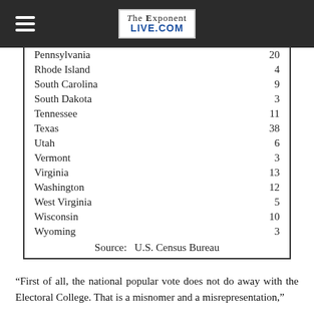The Exponent Live.com
| State | Electoral Votes |
| --- | --- |
| Pennsylvania | 20 |
| Rhode Island | 4 |
| South Carolina | 9 |
| South Dakota | 3 |
| Tennessee | 11 |
| Texas | 38 |
| Utah | 6 |
| Vermont | 3 |
| Virginia | 13 |
| Washington | 12 |
| West Virginia | 5 |
| Wisconsin | 10 |
| Wyoming | 3 |
Source:   U.S. Census Bureau
“First of all, the national popular vote does not do away with the Electoral College. That is a misnomer and a misrepresentation,” said Childs. “What does the popular vote do…